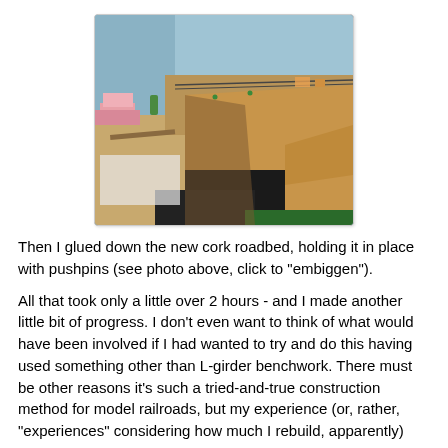[Figure (photo): A model railroad benchwork in progress, showing cardboard/foam roadbed being laid out in an L-shaped room corner. Pink foam insulation, tools, and pushpins are visible on the layout surface. The room has blue walls.]
Then I glued down the new cork roadbed, holding it in place with pushpins (see photo above, click to "embiggen").
All that took only a little over 2 hours - and I made another little bit of progress. I don't even want to think of what would have been involved if I had wanted to try and do this having used something other than L-girder benchwork. There must be other reasons it's such a tried-and-true construction method for model railroads, but my experience (or, rather, "experiences" considering how much I rebuild, apparently)